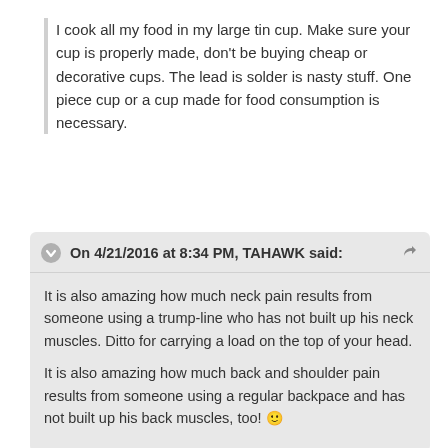I cook all my food in my large tin cup.  Make sure your cup is properly made, don't be buying cheap or decorative cups.  The lead is solder is nasty stuff.  One piece cup or a cup made for food consumption is necessary.
On 4/21/2016 at 8:34 PM, TAHAWK said:
It is also amazing how much neck pain results from someone using a trump-line who has not built up his neck muscles.  Ditto for carrying a load on the top of your head.
It is also amazing how much back and shoulder pain results from someone using a regular backpace and has not built up his back muscles, too! ☺